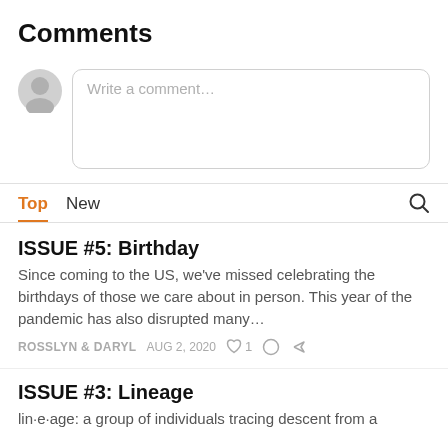Comments
[Figure (other): Comment input area with anonymous user avatar and text field placeholder 'Write a comment...']
Top   New
ISSUE #5: Birthday
Since coming to the US, we've missed celebrating the birthdays of those we care about in person. This year of the pandemic has also disrupted many…
ROSSLYN & DARYL   AUG 2, 2020   ♡ 1
ISSUE #3: Lineage
lin·e·age: a group of individuals tracing descent from a